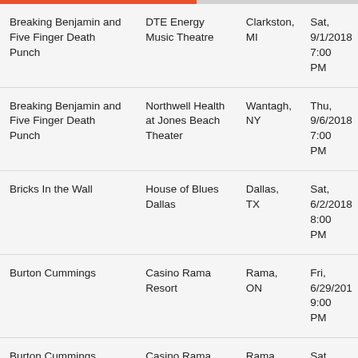| Breaking Benjamin and Five Finger Death Punch | DTE Energy Music Theatre | Clarkston, MI | Sat, 9/1/2018 7:00 PM |
| Breaking Benjamin and Five Finger Death Punch | Northwell Health at Jones Beach Theater | Wantagh, NY | Thu, 9/6/2018 7:00 PM |
| Bricks In the Wall | House of Blues Dallas | Dallas, TX | Sat, 6/2/2018 8:00 PM |
| Burton Cummings | Casino Rama Resort | Rama, ON | Fri, 6/29/2018 9:00 PM |
| Burton Cummings | Casino Rama Resort | Rama, ON | Sat, 6/30/2018 8:00 PM |
| Calibre 50 | Del Mar Fairgrounds | Del Mar, CA | Sun, 6/10/2018 7:30 PM |